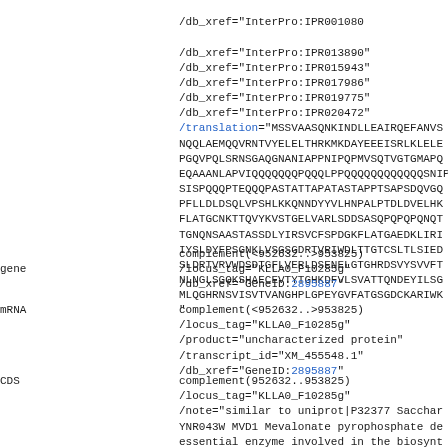/db_xref="InterPro:IPR001080"
/db_xref="InterPro:IPR013890"
/db_xref="InterPro:IPR015943"
/db_xref="InterPro:IPR017986"
/db_xref="InterPro:IPR019775"
/db_xref="InterPro:IPR020472"
/translation="MSSVAASQNKINDLLEAIRQEFANVS
NQQLAEMQQVRNTVYELELTHRKMKDAYEEEISRLKLELE
PGQVPQLSRNSGAQGNANIAPPNIPQPMVSQTVGTGMAPQ
EQAAANLAPVIQQQQQQPQQQLPPQQQQQQQQQQQQSNIPVT
SISPQQQPTEQQQPASTATTAPATASTAPPTSAPSDQVGQ
PFLLDLDSQLVPSHLKKQNNDYYVLHNPALPTDLDVELHK
FLATGCNKTTQVYKVSTGELVARLSDDSASQPQPQPQNQT
TGNQNSAASTASSDLYIRSVCFSPDGKFLATGAEDKLIRI
IYSLDYFPSGNKLVSGSGDRTVRIWDLTTGTCSLTLSIED
SLDRTVRVWDSDTGFLVERLDSENELGTGHRDSVYSVVFT
NLNGLSGQKSHAECEVTYTGHKDFVLSVATTQNDEYILSG
MLQGHRNSVISVTVANGHPLGPEYGVFATGSGDCKARIWK
"
gene        complement(<952632..>953825)
            /locus_tag="KLLA0_F10285g"
            /db_xref="GeneID:2895887"
mRNA        complement(<952632..>953825)
            /locus_tag="KLLA0_F10285g"
            /product="uncharacterized protein"
            /transcript_id="XM_455548.1"
            /db_xref="GeneID:2895887"
CDS         complement(952632..953825)
            /locus_tag="KLLA0_F10285g"
            /note="similar to uniprot|P32377 Sacchar
YNR043W MVD1 Mevalonate pyrophosphate de
essential enzyme involved in the biosynt
isoprenoids and sterols including ergost